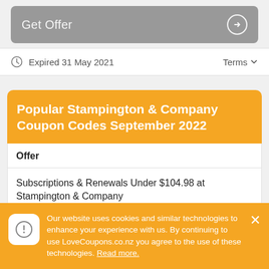[Figure (other): Get Offer button with arrow icon on grey rounded background]
Expired 31 May 2021
Terms
Popular Stampington & Company Coupon Codes September 2022
| Offer |
| --- |
| Subscriptions & Renewals Under $104.98 at Stampington & Company
Code: ********
Added: 4th December 2020 |
Our website uses cookies and similar technologies to enhance your experience with us. By continuing to use LoveCoupons.co.nz you agree to the use of these technologies. Read more.